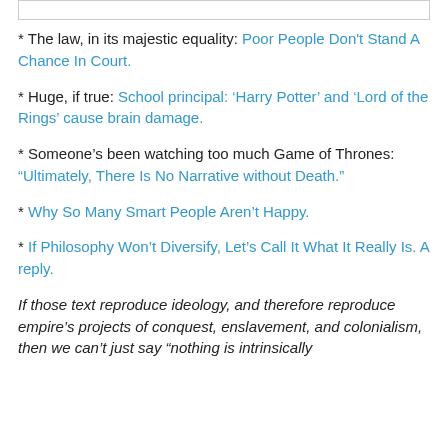* The law, in its majestic equality: Poor People Don't Stand A Chance In Court.
* Huge, if true: School principal: ‘Harry Potter’ and ‘Lord of the Rings’ cause brain damage.
* Someone’s been watching too much Game of Thrones: “Ultimately, There Is No Narrative without Death.”
* Why So Many Smart People Aren’t Happy.
* If Philosophy Won’t Diversify, Let’s Call It What It Really Is. A reply.
If those text reproduce ideology, and therefore reproduce empire’s projects of conquest, enslavement, and colonialism, then we can’t just say “nothing is intrinsically